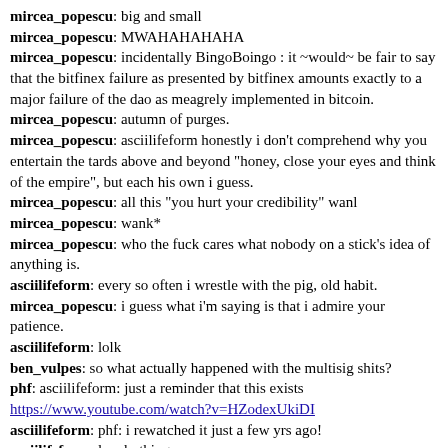mircea_popescu: big and small
mircea_popescu: MWAHAHAHAHA
mircea_popescu: incidentally BingoBoingo : it ~would~ be fair to say that the bitfinex failure as presented by bitfinex amounts exactly to a major failure of the dao as meagrely implemented in bitcoin.
mircea_popescu: autumn of purges.
mircea_popescu: asciilifeform honestly i don't comprehend why you entertain the tards above and beyond "honey, close your eyes and think of the empire", but each his own i guess.
mircea_popescu: all this "you hurt your credibility" wanl
mircea_popescu: wank*
mircea_popescu: who the fuck cares what nobody on a stick's idea of anything is.
asciilifeform: every so often i wrestle with the pig, old habit.
mircea_popescu: i guess what i'm saying is that i admire your patience.
asciilifeform: lolk
ben_vulpes: so what actually happened with the multisig shits?
phf: asciilifeform: just a reminder that this exists https://www.youtube.com/watch?v=HZodexUkiDI
asciilifeform: phf: i rewatched it just a few yrs ago!
asciilifeform: lovely thing.
shinohai: http://archive.is/9ceV1  <<< so much for Telegram
phf: i'm writing subs for girl, because official english translation is